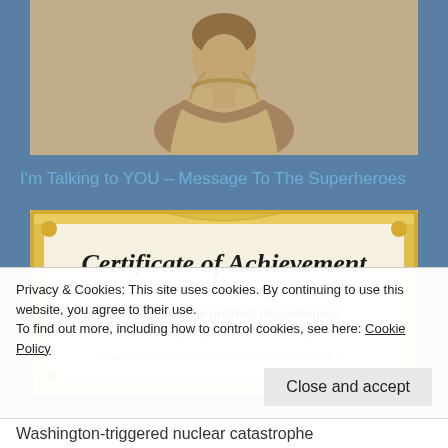[Figure (photo): Black and white / sepia vintage photo of a person in draped fabric clothing, seated pose, upper body visible]
I'm Talking to YOU – Message To The Superheroes
[Figure (photo): Certificate of Achievement image with ornate gold border. Text reads: 'Certificate of Achievement. THIS CERTIFICATE IS AWARDED TO THOSE: who survived the greatest psychological fear campaign in human history. SHALL NOW BE ENTITLED THE HONORABLE DESIGNATION OF:']
Privacy & Cookies: This site uses cookies. By continuing to use this website, you agree to their use.
To find out more, including how to control cookies, see here: Cookie Policy
Washington-triggered nuclear catastrophe